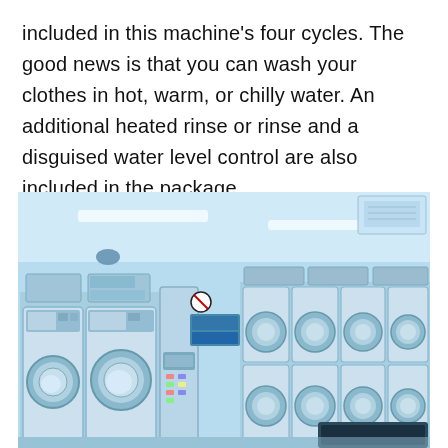included in this machine's four cycles. The good news is that you can wash your clothes in hot, warm, or chilly water. An additional heated rinse or rinse and a disguised water level control are also included in the package.
[Figure (photo): Interior of a Japanese-style coin laundromat with rows of front-loading washing machines and dryers along the walls, blue-tinted lighting, signs in Japanese on the machines, fluorescent ceiling lights, and a coin change machine in the center.]